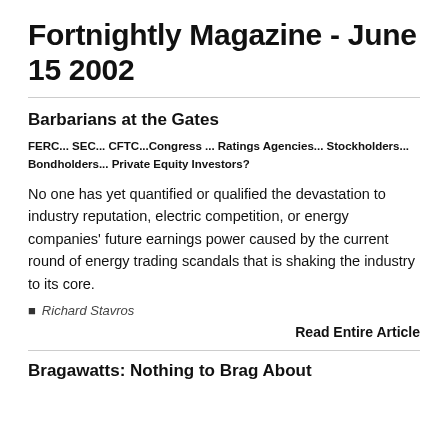Fortnightly Magazine - June 15 2002
Barbarians at the Gates
FERC... SEC... CFTC...Congress ... Ratings Agencies... Stockholders... Bondholders... Private Equity Investors?
No one has yet quantified or qualified the devastation to industry reputation, electric competition, or energy companies' future earnings power caused by the current round of energy trading scandals that is shaking the industry to its core.
Richard Stavros
Read Entire Article
Bragawatts: Nothing to Brag About